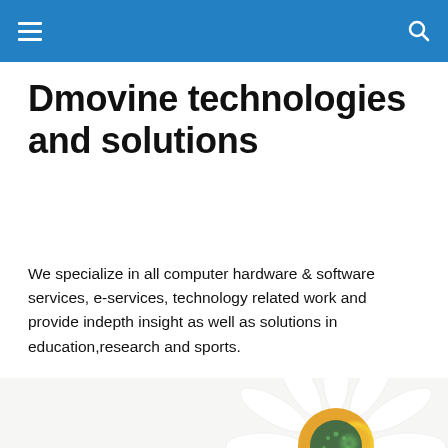Dmovine technologies and solutions
We specialize in all computer hardware & software services, e-services, technology related work and provide indepth insight as well as solutions in education,research and sports.
[Figure (photo): Close-up photo of a white daisy flower with yellow and green center]
[Figure (photo): Photo of a red sale tag reading 'sale 50%' in a blurred retail setting]